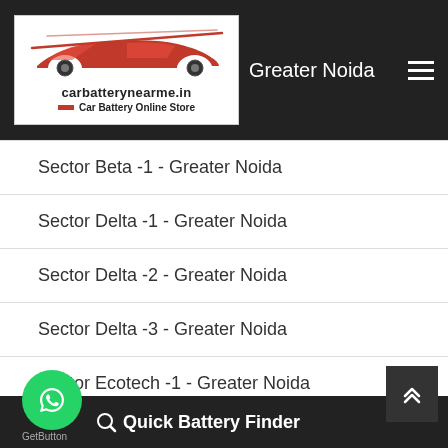carbatterynearme.in – Car Battery Online Store – Greater Noida
Sector Beta -1 - Greater Noida
Sector Delta -1 - Greater Noida
Sector Delta -2 - Greater Noida
Sector Delta -3 - Greater Noida
Sector Ecotech -1 - Greater Noida
Sector ETA -1 - Greater Noida
...ida
Quick Battery Finder